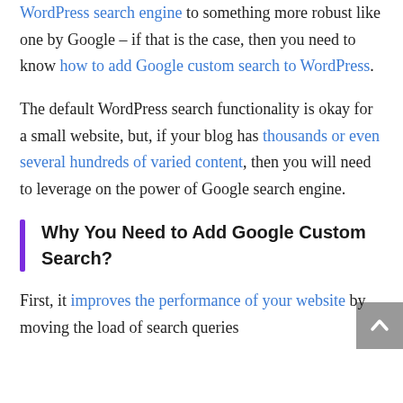robust like one by Google – if that is the case, then you need to know how to add Google custom search to WordPress.
The default WordPress search functionality is okay for a small website, but, if your blog has thousands or even several hundreds of varied content, then you will need to leverage on the power of Google search engine.
Why You Need to Add Google Custom Search?
First, it improves the performance of your website by moving the load of search queries